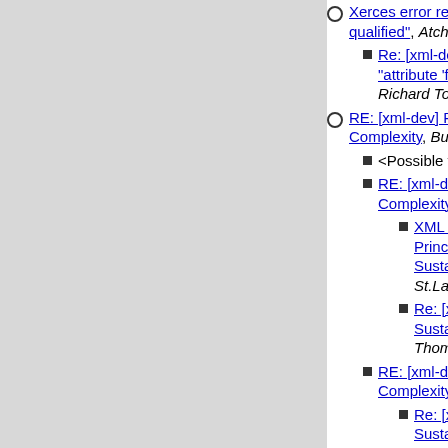Xerces error report "attribute 'f' qualified", Atchley, John
Re: [xml-dev] Xerces error "attribute 'foo' should be q..., Richard Tobin
RE: [xml-dev] Principle of SustainableComplexity, Bullard, Claude L (L...
<Possible follow-ups>
RE: [xml-dev] Principle of SustainableComplexity, Joshua Allen
XML utilities (was RE: Principle of SustainableComplexi..., St.Laurent
Re: [xml-dev] Principle of Sustainable Comple..., Thompson
RE: [xml-dev] Principle of SustainableComplexity, Michael Brenn...
Re: [xml-dev] Principle of Sustainable Comple..., Thomas Nicol
RE: [xml-dev] Principle of SustainableComplexity, Michael Brenn...
Re: [xml-dev] Princip...